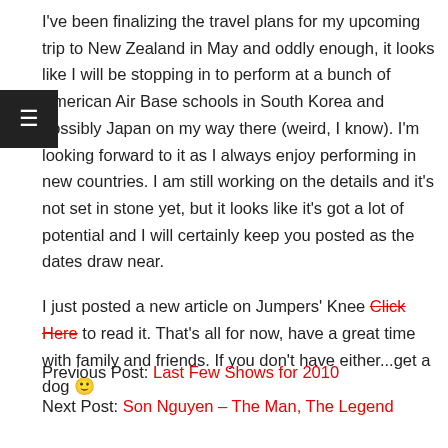I've been finalizing the travel plans for my upcoming trip to New Zealand in May and oddly enough, it looks like I will be stopping in to perform at a bunch of American Air Base schools in South Korea and possibly Japan on my way there (weird, I know). I'm looking forward to it as I always enjoy performing in new countries. I am still working on the details and it's not set in stone yet, but it looks like it's got a lot of potential and I will certainly keep you posted as the dates draw near.
I just posted a new article on Jumpers' Knee Click Here to read it. That's all for now, have a great time with family and friends. If you don't have either...get a dog 🙂
Previous Post: Last Few Shows for 2010
Next Post: Son Nguyen – The Man, The Legend